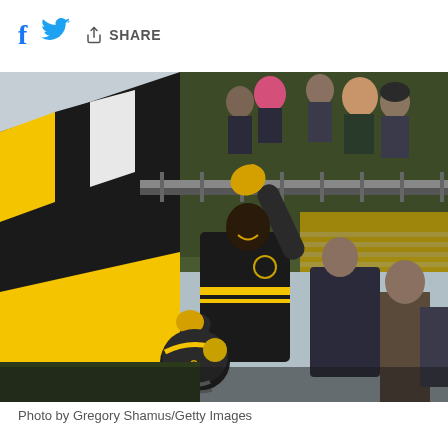f [twitter] SHARE
[Figure (photo): Pittsburgh Steelers player in black and yellow uniform holding helmet, reaching up to interact with fans in the stands at what appears to be Heinz Field. The stadium wall shows distinctive black and yellow stripes. Fans are dressed in winter clothing. Photo taken from field level looking up at the stands.]
Photo by Gregory Shamus/Getty Images